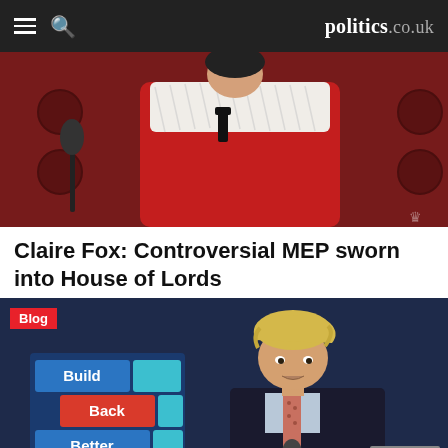politics.co.uk
[Figure (photo): Person wearing red and white ceremonial House of Lords robes, seated on red leather benches]
Claire Fox: Controversial MEP sworn into House of Lords
[Figure (photo): Boris Johnson speaking at a podium with a 'Build Back Better' sign behind him on a dark blue background, with a Blog tag overlay]
Johnson conference speech: Guff and fantasy in